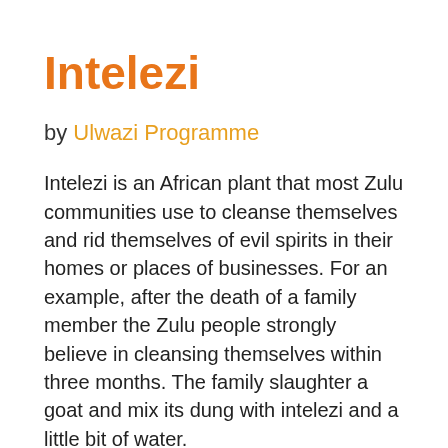Intelezi
by Ulwazi Programme
Intelezi is an African plant that most Zulu communities use to cleanse themselves and rid themselves of evil spirits in their homes or places of businesses. For an example, after the death of a family member the Zulu people strongly believe in cleansing themselves within three months. The family slaughter a goat and mix its dung with intelezi and a little bit of water.
The family members will then go and wash their bodies outside of the yard. They will wash their bodies with the mixture (at night)